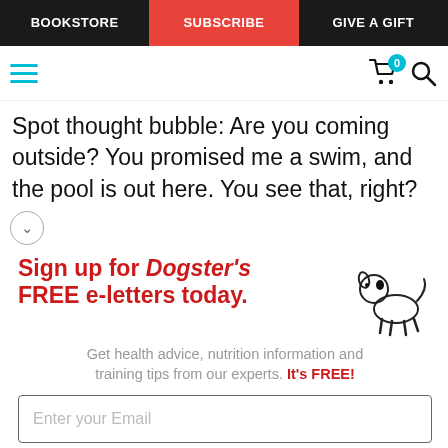BOOKSTORE | SUBSCRIBE | GIVE A GIFT
Spot thought bubble: Are you coming outside? You promised me a swim, and the pool is out here. You see that, right?
[Figure (infographic): Sign up for Dogster's FREE e-letters today. Get health advice, nutrition information and training tips from our experts. It's FREE! Email signup form with 'Enter your Email' field and 'YES! SIGN ME UP' red button. Small cartoon dog illustration on right.]